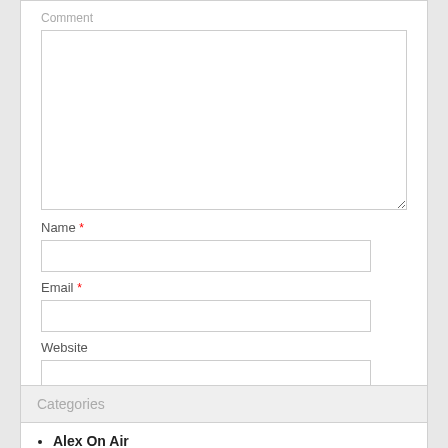Comment
Name *
Email *
Website
Post Comment
Categories
Alex On Air